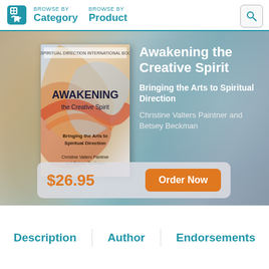BROWSE BY Category   BROWSE BY Product
[Figure (screenshot): Book product page for 'Awakening the Creative Spirit: Bringing the Arts to Spiritual Direction' by Christine Valters Paintner and Betsey Beckman. Shows book cover, title, subtitle, author, price $26.95 and Order Now button.]
Awakening the Creative Spirit
Bringing the Arts to Spiritual Direction
Christine Valters Paintner and Betsey Beckman
$26.95
Order Now
Description   Author   Endorsements